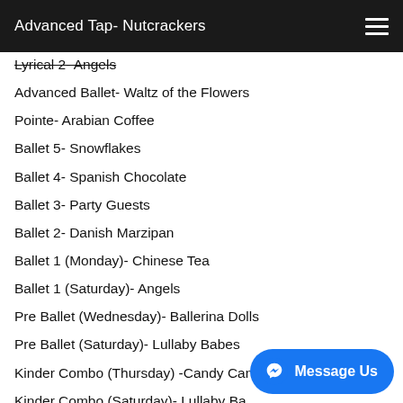Advanced Tap- Nutcrackers
Lyrical 2- Angels
Advanced Ballet- Waltz of the Flowers
Pointe- Arabian Coffee
Ballet 5- Snowflakes
Ballet 4- Spanish Chocolate
Ballet 3- Party Guests
Ballet 2- Danish Marzipan
Ballet 1 (Monday)- Chinese Tea
Ballet 1 (Saturday)- Angels
Pre Ballet (Wednesday)- Ballerina Dolls
Pre Ballet (Saturday)- Lullaby Babes
Kinder Combo (Thursday) -Candy Canes
Kinder Combo (Saturday)- Lullaby Ba[obscured]
Preschool Combo (Tuesday AM)-S[obscured]
Preschool Combo (Tuesday PM) -Mice